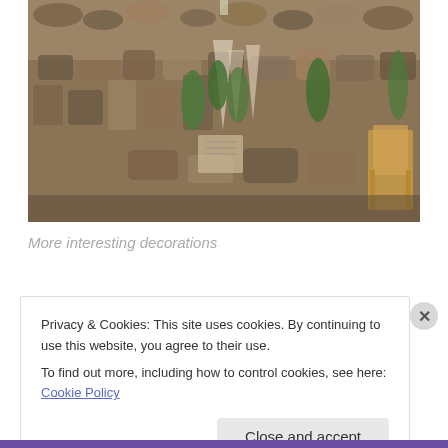[Figure (photo): Interior room with walls decorated with rocks, pebbles, crystals, coral and other natural mineral formations. Green plants are arranged among the rocks. A wooden chair is visible on the right side.]
More interesting decorations
Privacy & Cookies: This site uses cookies. By continuing to use this website, you agree to their use.
To find out more, including how to control cookies, see here: Cookie Policy